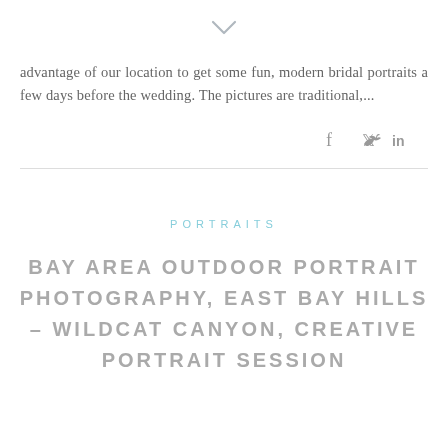[Figure (other): Chevron/down-arrow icon in light gray]
advantage of our location to get some fun, modern bridal portraits a few days before the wedding. The pictures are traditional,...
[Figure (other): Social media icons: Facebook (f), Twitter bird, LinkedIn (in) in gray]
PORTRAITS
BAY AREA OUTDOOR PORTRAIT PHOTOGRAPHY, EAST BAY HILLS – WILDCAT CANYON, CREATIVE PORTRAIT SESSION